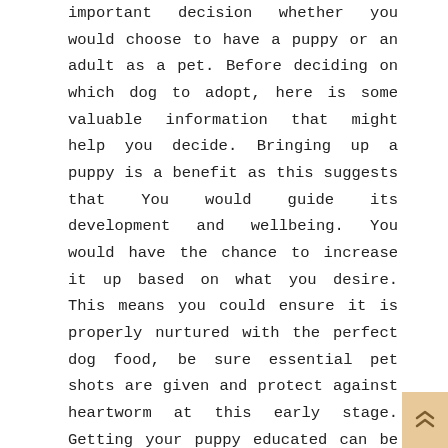important decision whether you would choose to have a puppy or an adult as a pet. Before deciding on which dog to adopt, here is some valuable information that might help you decide. Bringing up a puppy is a benefit as this suggests that You would guide its development and wellbeing. You would have the chance to increase it up based on what you desire. This means you could ensure it is properly nurtured with the perfect dog food, be sure essential pet shots are given and protect against heartworm at this early stage. Getting your puppy educated can be a plus as it is possible to teach him exactly what you want.